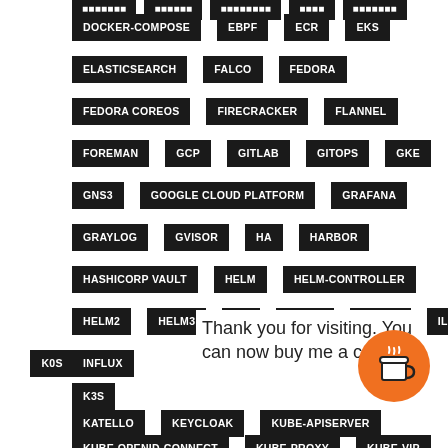DOCKER-COMPOSE
EBPF
ECR
EKS
ELASTICSEARCH
FALCO
FEDORA
FEDORA COREOS
FIRECRACKER
FLANNEL
FOREMAN
GCP
GITLAB
GITOPS
GKE
GNS3
GOOGLE CLOUD PLATFORM
GRAFANA
GRAYLOG
GVISOR
HA
HARBOR
HASHICORP VAULT
HELM
HELM-CONTROLLER
HELM2
HELM3
HP
HTTPD
ICINGA
ILO
INFLUX
K0S
K3S
KATELLO
KEYCLOAK
KUBE-APISERVER
KUBE-OPENID-CONNECT
KUBE-PROXY
KUBE-VIP
Thank you for visiting. You can now buy me a coffee!